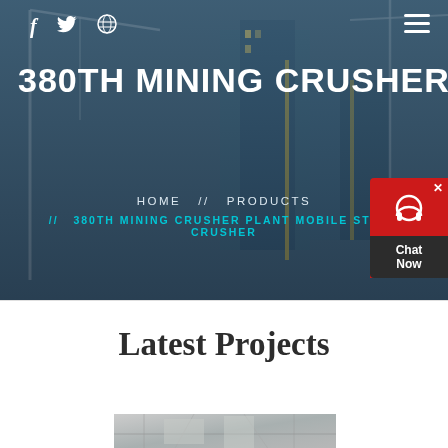[Figure (photo): Hero background photo of construction site with cranes and buildings, overlaid with dark blue tint]
f  (twitter icon)  (dribbble icon)  ≡
380TH MINING CRUSHER PLANT
HOME  //  PRODUCTS  //  380TH MINING CRUSHER PLANT MOBILE STONE CRUSHER
[Figure (infographic): Red chat widget with headset icon and Chat Now label in dark box]
Latest Projects
[Figure (photo): Partial view of a mining crusher plant machinery image at the bottom of the page]